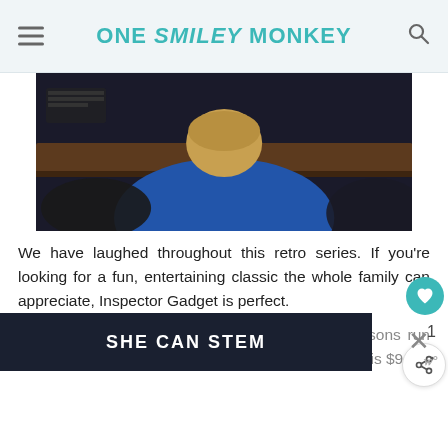ONE SMILEY MONKEY
[Figure (photo): Back of a young child's head, wearing a blue hoodie, leaning over a wooden surface. Two children visible from behind.]
We have laughed throughout this retro series. If you’re looking for a fun, entertaining classic the whole family can appreciate, Inspector Gadget is perfect.
The Christmas movie runs $12.95; individual seasons run $34.95/season and the complete Inspector Gadget is $9...